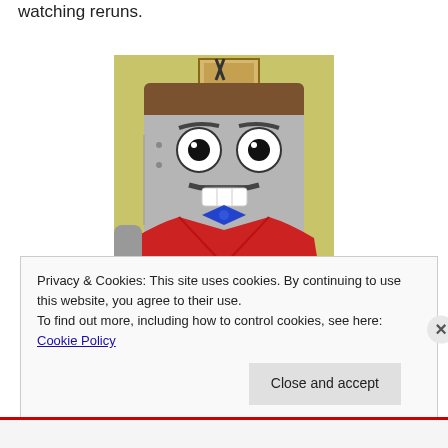watching reruns.
[Figure (illustration): Cartoon character resembling a robot with a television-shaped head, wearing a red cardigan and blue bow tie, with a mustache and antenna on top.]
Privacy & Cookies: This site uses cookies. By continuing to use this website, you agree to their use.
To find out more, including how to control cookies, see here: Cookie Policy
Close and accept